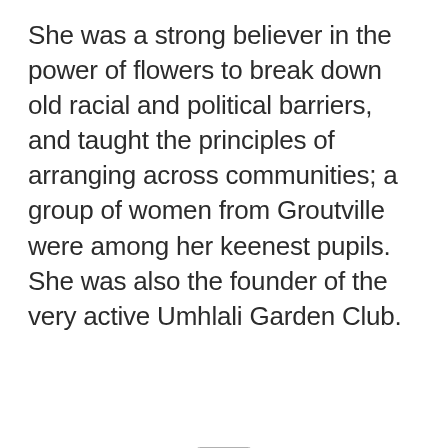She was a strong believer in the power of flowers to break down old racial and political barriers, and taught the principles of arranging across communities; a group of women from Groutville were among her keenest pupils. She was also the founder of the very active Umhlali Garden Club.
[Figure (other): Advertisement placeholder box with 'Ad' button label]